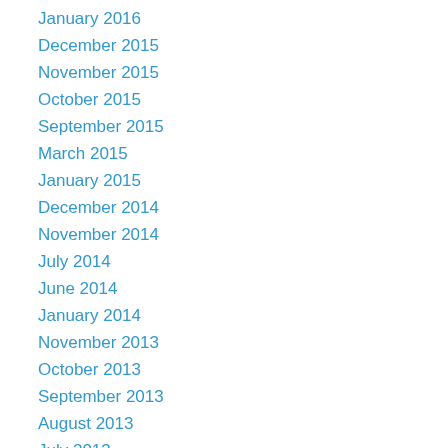January 2016
December 2015
November 2015
October 2015
September 2015
March 2015
January 2015
December 2014
November 2014
July 2014
June 2014
January 2014
November 2013
October 2013
September 2013
August 2013
July 2013
June 2013
May 2013
April 2013